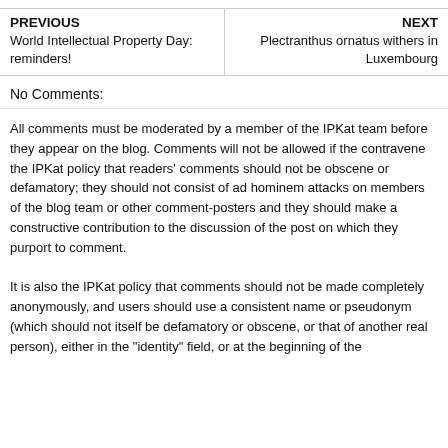| PREVIOUS | NEXT |
| --- | --- |
| World Intellectual Property Day: reminders! | Plectranthus ornatus withers in Luxembourg |
No Comments:
All comments must be moderated by a member of the IPKat team before they appear on the blog. Comments will not be allowed if the contravene the IPKat policy that readers' comments should not be obscene or defamatory; they should not consist of ad hominem attacks on members of the blog team or other comment-posters and they should make a constructive contribution to the discussion of the post on which they purport to comment.
It is also the IPKat policy that comments should not be made completely anonymously, and users should use a consistent name or pseudonym (which should not itself be defamatory or obscene, or that of another real person), either in the "identity" field, or at the beginning of the